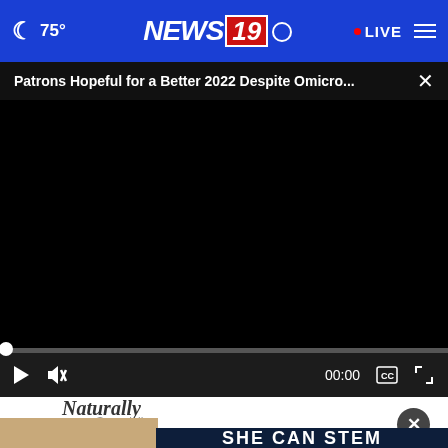🌙 75° NEWS 19 • LIVE ☰
Patrons Hopeful for a Better 2022 Despite Omicro... ×
[Figure (screenshot): Black video player area showing paused/unloaded video]
00:00
So goodly
[Figure (infographic): SHE CAN STEM advertisement banner with dark navy background and white bold text]